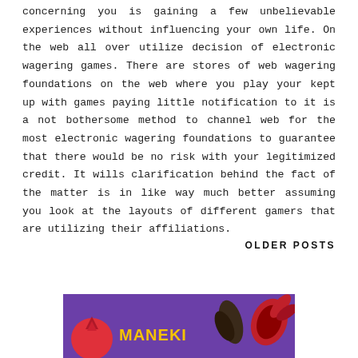concerning you is gaining a few unbelievable experiences without influencing your own life. On the web all over utilize decision of electronic wagering games. There are stores of web wagering foundations on the web where you play your kept up with games paying little notification to it is a not bothersome method to channel web for the most electronic wagering foundations to guarantee that there would be no risk with your legitimized credit. It wills clarification behind the fact of the matter is in like way much better assuming you look at the layouts of different gamers that are utilizing their affiliations.
OLDER POSTS
[Figure (illustration): Colorful casino/gambling themed banner image with purple background, red circular logo on left, yellow stylized text 'MANEKI' in center, and red decorative claw/hand element on right]